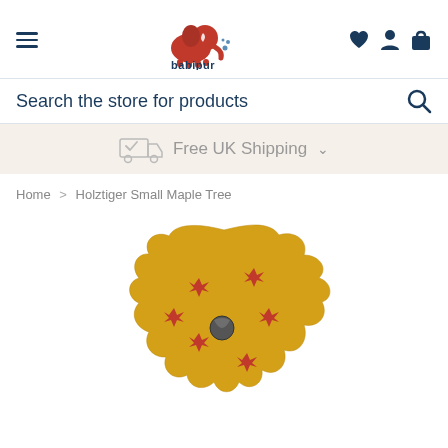[Figure (logo): Babipur logo: red elephant with water squirt and brand name 'babipur' in dark blue]
Search the store for products
Free UK Shipping
Home > Holztiger Small Maple Tree
[Figure (photo): Holztiger Small Maple Tree wooden toy - yellow maple tree shape with red maple leaf decorations and a peg hole in the center]